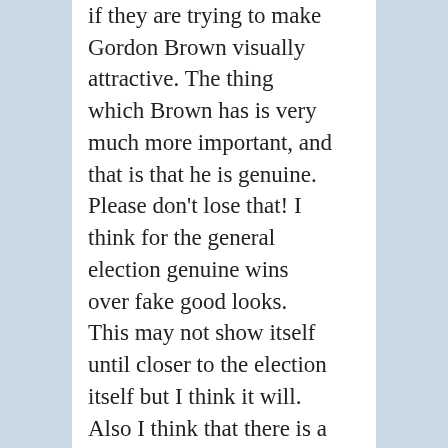if they are trying to make Gordon Brown visually attractive. The thing which Brown has is very much more important, and that is that he is genuine. Please don't lose that! I think for the general election genuine wins over fake good looks. This may not show itself until closer to the election itself but I think it will. Also I think that there is a good narrative (I'm starting to write like AC) in the